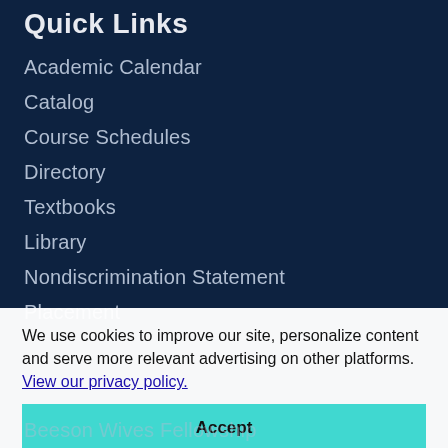Quick Links
Academic Calendar
Catalog
Course Schedules
Directory
Textbooks
Library
Nondiscrimination Statement
Placement
We use cookies to improve our site, personalize content and serve more relevant advertising on other platforms. View our privacy policy.
Accept
Preferences
Beeson Wives Fellowship